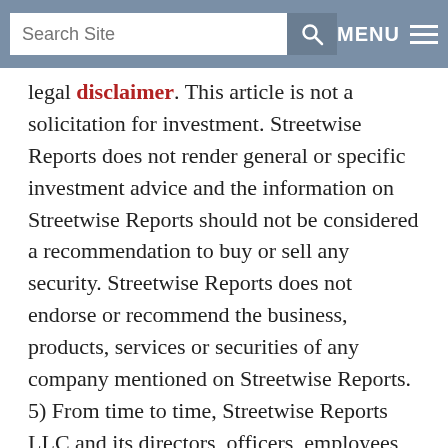Search Site | MENU
legal disclaimer. This article is not a solicitation for investment. Streetwise Reports does not render general or specific investment advice and the information on Streetwise Reports should not be considered a recommendation to buy or sell any security. Streetwise Reports does not endorse or recommend the business, products, services or securities of any company mentioned on Streetwise Reports.
5) From time to time, Streetwise Reports LLC and its directors, officers, employees or members of their families, as well as persons interviewed for articles and interviews on the